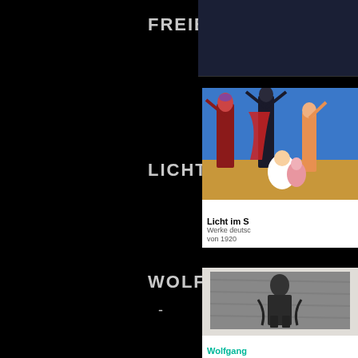FREIER FALL
LICHT IM SCHATTEN
WOLFGANG MATTHEUER
-
Daniel Sam
#FREIER
[Figure (illustration): Painting showing surrealist figures with elongated limbs in desert scene, colorful robes, blue sky background]
Licht im S
Werke deutsc von 1920
[Figure (photo): Black and white photo showing a figure or sculpture against textured background]
Wolfgang